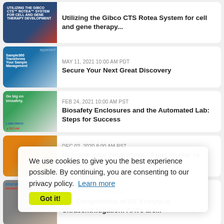[Figure (photo): Gibco CTS Rotea system product image with red and navy lab equipment]
Utilizing the Gibco CTS Rotea System for cell and gene therapy...
[Figure (photo): Eppendorf Sample360 transforms your sample management - digital globe image]
MAY 11, 2021 10:00 AM PDT
Secure Your Next Great Discovery
[Figure (photo): Labconco and Tecan biosafety enclosures lab image]
FEB 24, 2021 10:00 AM PST
Biosafety Enclosures and the Automated Lab: Steps for Success
[Figure (photo): Lab bioprocess shaker to bioreactor image]
DEC 02, 2020 8:00 AM PST
Optimize your bioprocess - From shaker to bioreactor
[Figure (photo): Educational webinar series image with person speaking]
SEP 03, 2020 9:00 AM PDT
The Complexities of SV Analytical Ultracentrifugation: AAVs are...
MAY 20, 2020 7:30 AM PDT
We use cookies to give you the best experience possible. By continuing, you are consenting to our privacy policy.  Learn more
Got it!